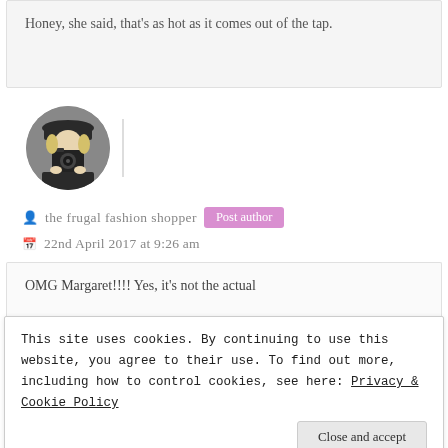Honey, she said, that's as hot as it comes out of the tap.
[Figure (photo): Circular avatar photo of a person holding a camera in front of their face, wearing a dark hat and jacket]
the frugal fashion shopper  Post author
22nd April 2017 at 9:26 am
OMG Margaret!!!! Yes, it's not the actual
This site uses cookies. By continuing to use this website, you agree to their use. To find out more, including how to control cookies, see here: Privacy & Cookie Policy
Close and accept
this has happened to me in Europe. And it